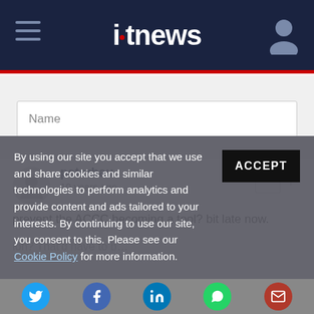itnews
Name
peterhau
10 years ago
prevent the ACCC becoming a tool? bit late now.
By using our site you accept that we use and share cookies and similar technologies to perform analytics and provide content and ads tailored to your interests. By continuing to use our site, you consent to this. Please see our Cookie Policy for more information.